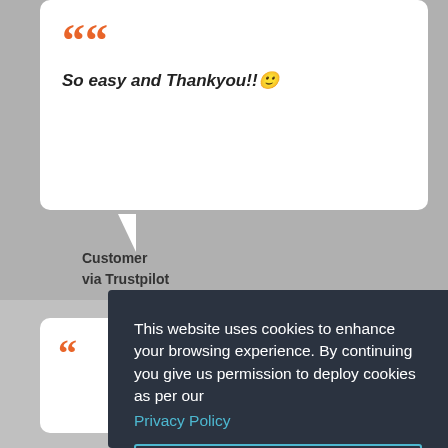So easy and Thankyou!!
Customer
via Trustpilot
This website uses cookies to enhance your browsing experience. By continuing you give us permission to deploy cookies as per our Privacy Policy
Excellent. I accept.
Alison B
to Blos
29 Aug